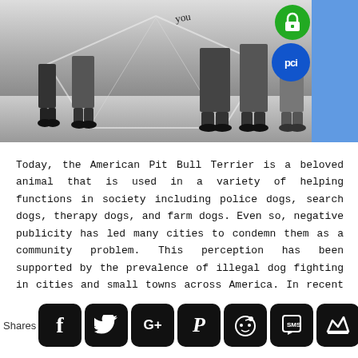[Figure (photo): Black and white photograph of children holding a large decorative heart-shaped banner. The children are shown from the waist down, wearing dark clothing and shoes. The banner has floral and decorative patterns with the word 'you' visible at the top.]
Today, the American Pit Bull Terrier is a beloved animal that is used in a variety of helping functions in society including police dogs, search dogs, therapy dogs, and farm dogs. Even so, negative publicity has led many cities to condemn them as a community problem. This perception has been supported by the prevalence of illegal dog fighting in cities and small towns across America. In recent years, gangs have taken to dog fighting and elevated the ownership of trained fighting dogs as a status symbol.
[Figure (infographic): Social media sharing bar with Facebook, Twitter, Google+, Pinterest, Reddit, SMS, and a crown/save icon buttons, with a 'Shares' label on the left.]